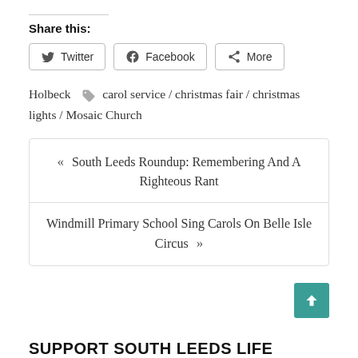Share this:
Twitter | Facebook | More
Holbeck  carol service / christmas fair / christmas lights / Mosaic Church
« South Leeds Roundup: Remembering And A Righteous Rant
Windmill Primary School Sing Carols On Belle Isle Circus »
SUPPORT SOUTH LEEDS LIFE